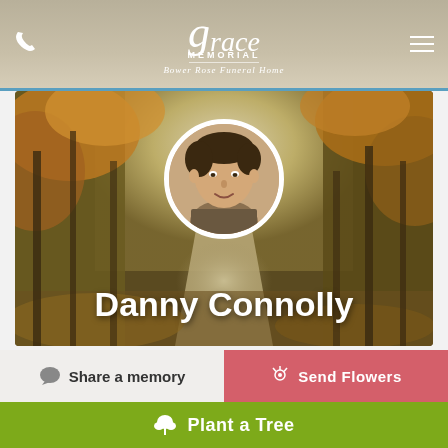[Figure (logo): Grace Memorial Bower Rose Funeral Home logo with stylized script lettering on tan/beige header background]
[Figure (photo): Memorial page for Danny Connolly - autumn forest path background with circular portrait photo of a young man, name displayed in white bold text]
Share a memory
Send Flowers
Plant a Tree